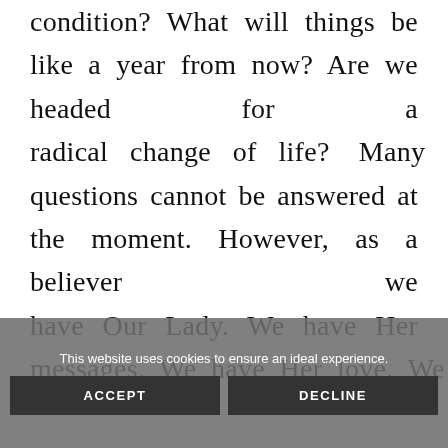condition? What will things be like a year from now? Are we headed for a radical change of life? Many questions cannot be answered at the moment. However, as a believer we have Our Lady. We have Her messages. We have Her love. We
This website uses cookies to ensure an ideal experience.
ACCEPT
DECLINE